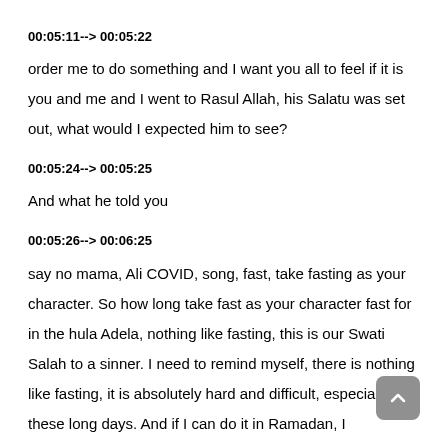00:05:11--> 00:05:22
order me to do something and I want you all to feel if it is you and me and I went to Rasul Allah, his Salatu was set out, what would I expected him to see?
00:05:24--> 00:05:25
And what he told you
00:05:26--> 00:06:25
say no mama, Ali COVID, song, fast, take fasting as your character. So how long take fast as your character fast for in the hula Adela, nothing like fasting, this is our Swati Salah to a sinner. I need to remind myself, there is nothing like fasting, it is absolutely hard and difficult, especially in these long days. And if I can do it in Ramadan, I